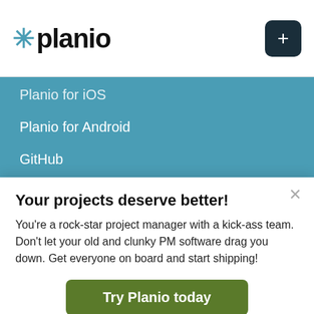[Figure (logo): Planio logo with teal asterisk star and bold black text 'planio', plus a dark navy plus button on the right]
Planio for iOS
Planio for Android
GitHub
Bitbucket
Google Chrome & Apps
Pidoco Wireframes
Dropscan
Your projects deserve better!
You're a rock-star project manager with a kick-ass team. Don't let your old and clunky PM software drag you down. Get everyone on board and start shipping!
Try Planio today